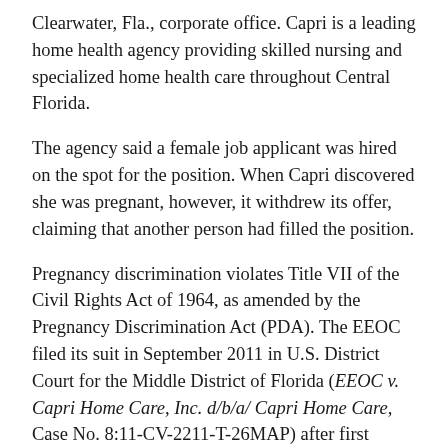Clearwater, Fla., corporate office. Capri is a leading home health agency providing skilled nursing and specialized home health care throughout Central Florida.
The agency said a female job applicant was hired on the spot for the position. When Capri discovered she was pregnant, however, it withdrew its offer, claiming that another person had filled the position.
Pregnancy discrimination violates Title VII of the Civil Rights Act of 1964, as amended by the Pregnancy Discrimination Act (PDA). The EEOC filed its suit in September 2011 in U.S. District Court for the Middle District of Florida (EEOC v. Capri Home Care, Inc. d/b/a/ Capri Home Care, Case No. 8:11-CV-2211-T-26MAP) after first attempting to reach a pre-litigation settlement through its conciliation process.
Per the two-year consent decree settling the suit, Capri's